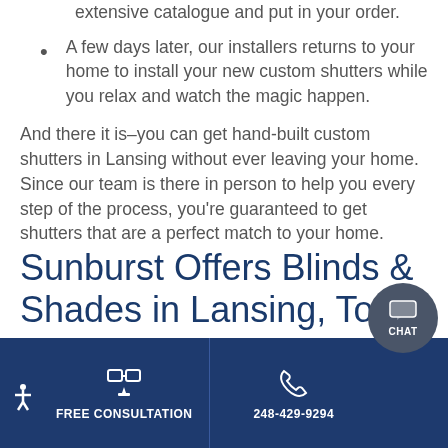extensive catalogue and put in your order.
A few days later, our installers returns to your home to install your new custom shutters while you relax and watch the magic happen.
And there it is–you can get hand-built custom shutters in Lansing without ever leaving your home. Since our team is there in person to help you every step of the process, you're guaranteed to get shutters that are a perfect match to your home.
Sunburst Offers Blinds & Shades in Lansing, Too
FREE CONSULTATION | 248-429-9294 | CHAT